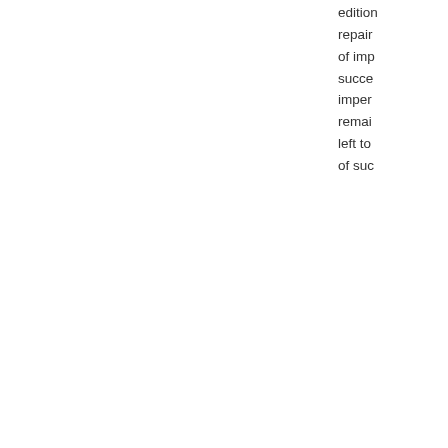edition repair of imp succe imper remai left to of suc
Co říkají ostatní - Napsat recenzi
Na obvyklých místech jsme nenalezli žádné recenze.
Další vydání - Zobrazit všechny